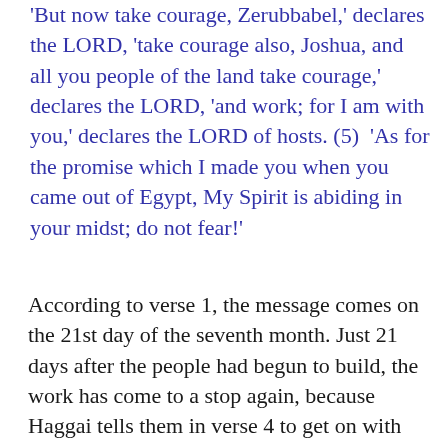'But now take courage, Zerubbabel,' declares the LORD, 'take courage also, Joshua, and all you people of the land take courage,' declares the LORD, 'and work; for I am with you,' declares the LORD of hosts. (5)  'As for the promise which I made you when you came out of Egypt, My Spirit is abiding in your midst; do not fear!'
According to verse 1, the message comes on the 21st day of the seventh month. Just 21 days after the people had begun to build, the work has come to a stop again, because Haggai tells them in verse 4 to get on with the work. Obviously, the people have become